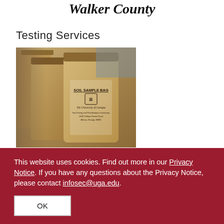Walker County
Testing Services
[Figure (photo): Close-up photo of University of Georgia soil sample bags labeled 'SOIL SAMPLE BAG' with The University of Georgia logo and address text]
This website uses cookies. Find out more in our Privacy Notice. If you have any questions about the Privacy Notice, please contact infosec@uga.edu.
OK